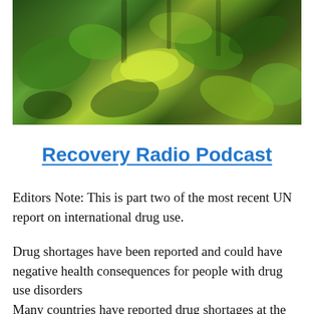[Figure (photo): Close-up photo of green leafy plants and foliage with bokeh background, predominantly green and yellow-green tones]
Recovery Radio Podcast
Editors Note: This is part two of the most recent UN report on international drug use.
Drug shortages have been reported and could have negative health consequences for people with drug use disorders
Many countries have reported drug shortages at the retail level, with reports of heroin shortages in Europe, South-West Asia and